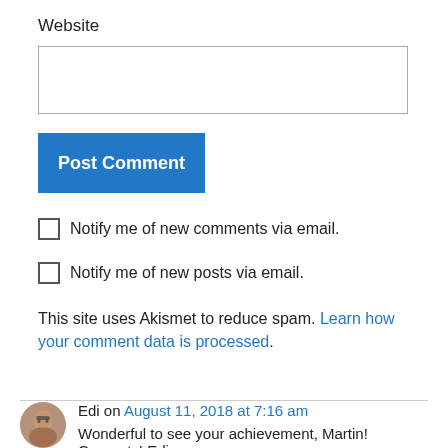Website
Post Comment
Notify me of new comments via email.
Notify me of new posts via email.
This site uses Akismet to reduce spam. Learn how your comment data is processed.
Edi on August 11, 2018 at 7:16 am
Wonderful to see your achievement, Martin! Congrats! Edi